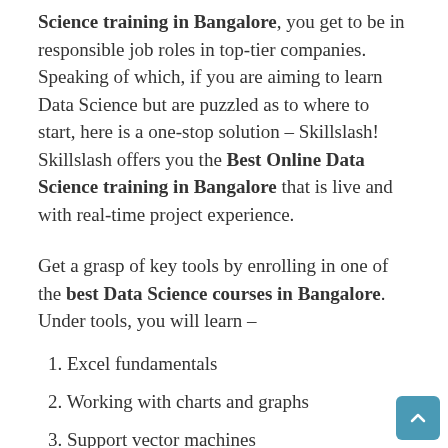Science training in Bangalore, you get to be in responsible job roles in top-tier companies. Speaking of which, if you are aiming to learn Data Science but are puzzled as to where to start, here is a one-stop solution – Skillslash! Skillslash offers you the Best Online Data Science training in Bangalore that is live and with real-time project experience.
Get a grasp of key tools by enrolling in one of the best Data Science courses in Bangalore. Under tools, you will learn –
1. Excel fundamentals
2. Working with charts and graphs
3. Support vector machines